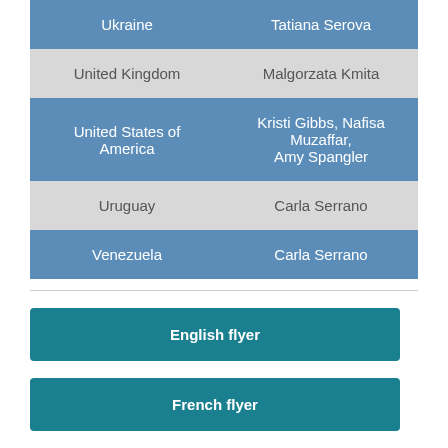| Country | Name |
| --- | --- |
| Ukraine | Tatiana Serova |
| United Kingdom | Malgorzata Kmita |
| United States of America | Kristi Gibbs, Nafisa Muzaffar, Amy Spangler |
| Uruguay | Carla Serrano |
| Venezuela | Carla Serrano |
English flyer
French flyer